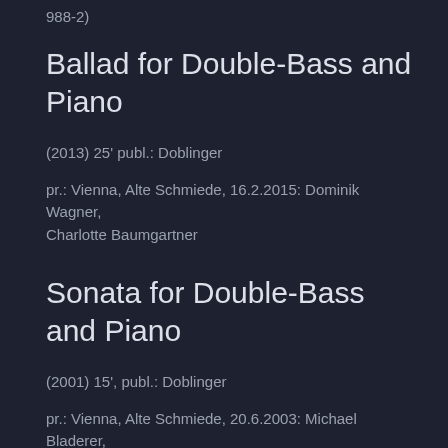988-2)
Ballad for Double-Bass and Piano
(2013)  25'  publ.: Doblinger
pr.: Vienna, Alte Schmiede, 16.2.2015: Dominik Wagner, Charlotte Baumgartner
Sonata for Double-Bass and Piano
(2001) 15', publ.: Doblinger
pr.: Vienna, Alte Schmiede, 20.6.2003: Michael Bladerer, Bernhard Hickel